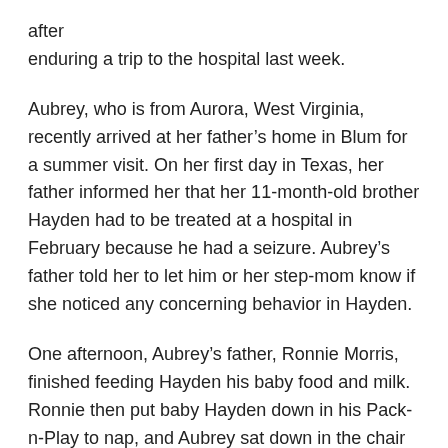after
enduring a trip to the hospital last week.
Aubrey, who is from Aurora, West Virginia, recently arrived at her father’s home in Blum for a summer visit. On her first day in Texas, her father informed her that her 11-month-old brother Hayden had to be treated at a hospital in February because he had a seizure. Aubrey’s father told her to let him or her step-mom know if she noticed any concerning behavior in Hayden.
One afternoon, Aubrey’s father, Ronnie Morris, finished feeding Hayden his baby food and milk. Ronnie then put baby Hayden down in his Pack-n-Play to nap, and Aubrey sat down in the chair next to him and talked to him.